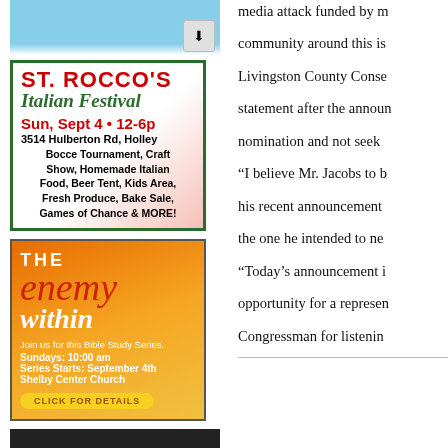[Figure (other): Top image placeholder with blue sky and download icon]
[Figure (infographic): St. Rocco's Italian Festival advertisement. Sun, Sept 4 • 12-6p. 3514 Hulberton Rd, Holley. Bocce Tournament, Craft Show, Homemade Italian Food, Beer Tent, Kids Area, Fresh Produce, Bake Sale, Games of Chance & MORE!]
[Figure (infographic): The Enemy Within - Bible Study Series ad. Join us for this Bible Study Series. Sundays: 10:00 am. Series Starts: September 4th. Shelby Center Church. CLICK FOR DETAILS]
[Figure (photo): Dark preview image at bottom of left column]
media attack funded by m
community around this is
Livingston County Conse
statement after the announ
nomination and not seek
“I believe Mr. Jacobs to b
his recent announcement
the one he intended to ne
“Today’s announcement i
opportunity for a represen
Congressman for listenin